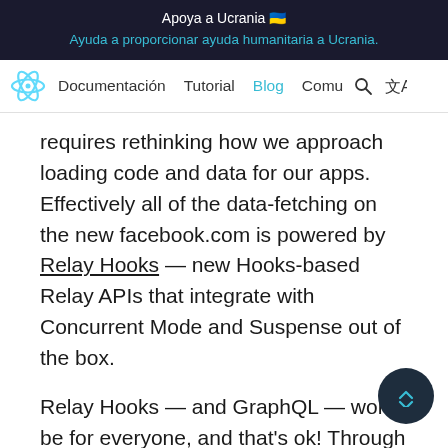Apoya a Ucrania 🇺🇦
Ayuda a proporcionar ayuda humanitaria a Ucrania.
Documentación  Tutorial  Blog  Comu
requires rethinking how we approach loading code and data for our apps. Effectively all of the data-fetching on the new facebook.com is powered by Relay Hooks — new Hooks-based Relay APIs that integrate with Concurrent Mode and Suspense out of the box.
Relay Hooks — and GraphQL — won't be for everyone, and that's ok! Through our work on these APIs we've identified a set of more general patterns for using Suspense. Even if Relay isn't the right fit for yo think the key patterns we've introduced with Relay Hooks can be adapted to other frameworks.